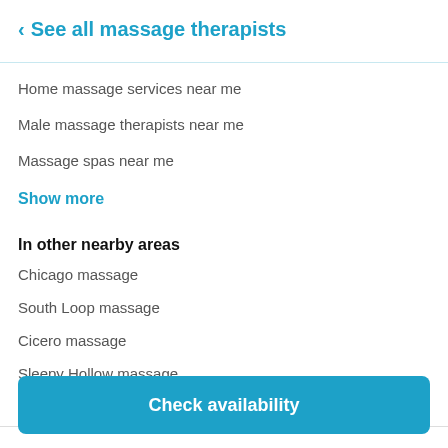See all massage therapists
Home massage services near me
Male massage therapists near me
Massage spas near me
Show more
In other nearby areas
Chicago massage
South Loop massage
Cicero massage
Sleepy Hollow massage
Hermosa massage
Check availability